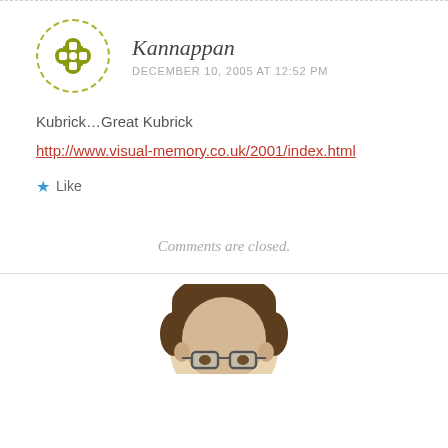[Figure (illustration): Round avatar icon with olive/yellow-green decorative knot or cross pattern on white background, dashed circular border]
Kannappan
DECEMBER 10, 2005 AT 12:52 PM
Kubrick…Great Kubrick
http://www.visual-memory.co.uk/2001/index.html
Like
Comments are closed.
[Figure (illustration): Illustrated portrait of a man with brown hair, glasses, partial view from below chin up, cropped at bottom of page]